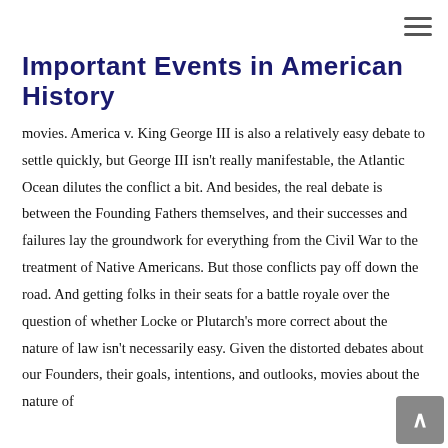≡
Important Events in American History
movies. America v. King George III is also a relatively easy debate to settle quickly, but George III isn't really manifestable, the Atlantic Ocean dilutes the conflict a bit. And besides, the real debate is between the Founding Fathers themselves, and their successes and failures lay the groundwork for everything from the Civil War to the treatment of Native Americans. But those conflicts pay off down the road. And getting folks in their seats for a battle royale over the question of whether Locke or Plutarch's more correct about the nature of law isn't necessarily easy. Given the distorted debates about our Founders, their goals, intentions, and outlooks, movies about the nature of